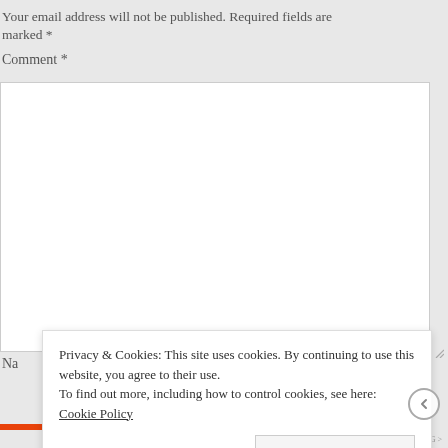Your email address will not be published. Required fields are marked *
Comment *
Privacy & Cookies: This site uses cookies. By continuing to use this website, you agree to their use. To find out more, including how to control cookies, see here: Cookie Policy
Close and accept